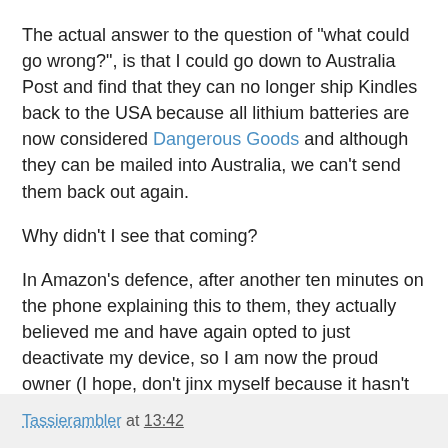The actual answer to the question of "what could go wrong?", is that I could go down to Australia Post and find that they can no longer ship Kindles back to the USA because all lithium batteries are now considered Dangerous Goods and although they can be mailed into Australia, we can't send them back out again.
Why didn't I see that coming?
In Amazon's defence, after another ten minutes on the phone explaining this to them, they actually believed me and have again opted to just deactivate my device, so I am now the proud owner (I hope, don't jinx myself because it hasn't arrived yet) of three paperwhite kindles and two kobo readers, one of which (I am hoping) will actually work.
I have to say, good old fashioned books are looking more and more attractive every day ...
Tassierambler at 13:42